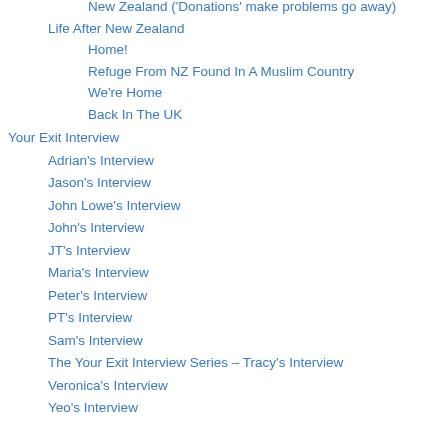New Zealand ('Donations' make problems go away)
Life After New Zealand
Home!
Refuge From NZ Found In A Muslim Country
We're Home
Back In The UK
Your Exit Interview
Adrian's Interview
Jason's Interview
John Lowe's Interview
John's Interview
JT's Interview
Maria's Interview
Peter's Interview
PT's Interview
Sam's Interview
The Your Exit Interview Series – Tracy's Interview
Veronica's Interview
Yeo's Interview